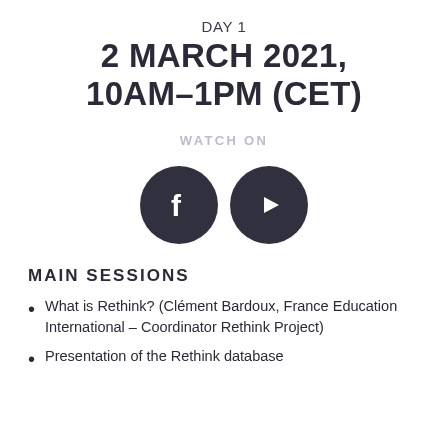DAY 1
2 MARCH 2021,
10AM–1PM (CET)
WATCH ON
[Figure (illustration): Two circular dark icons side by side: a Facebook logo (f) and a YouTube play button logo]
MAIN SESSIONS
What is Rethink? (Clément Bardoux, France Education International – Coordinator Rethink Project)
Presentation of the Rethink database